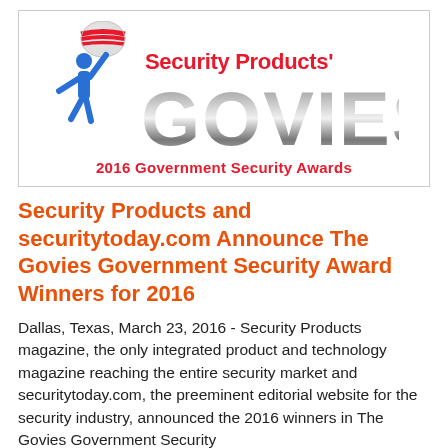[Figure (logo): Security Products' GOVIES 2016 Government Security Awards logo. Features a stylized blue human figure holding a globe with red/white/blue stripes, with 'Security Products'' in red bold text and 'GOVIES' in large silver metallic letters, and '2016 Government Security Awards' in red below.]
Security Products and securitytoday.com Announce The Govies Government Security Award Winners for 2016
Dallas, Texas, March 23, 2016 - Security Products magazine, the only integrated product and technology magazine reaching the entire security market and securitytoday.com, the preeminent editorial website for the security industry, announced the 2016 winners in The Govies Government Security